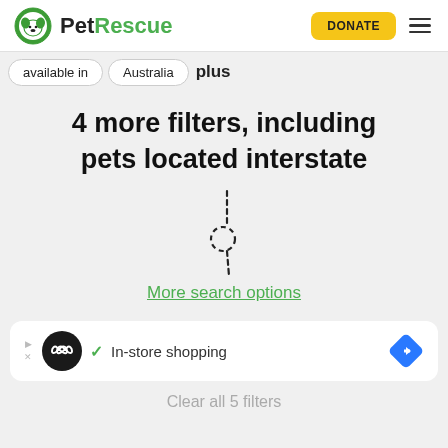PetRescue — DONATE
available in   Australia   plus
4 more filters, including pets located interstate
[Figure (illustration): Dashed cursor/arrow icon illustration — a dashed line curves into a mouse pointer shape with a dashed circle near the tip]
More search options
[Figure (screenshot): Advertisement banner: infinity-loop logo circle, checkmark, In-store shopping text, blue diamond arrow icon]
Clear all 5 filters